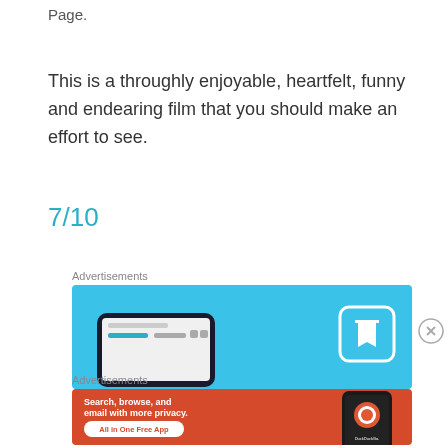Page.
This is a throughly enjoyable, heartfelt, funny and endearing film that you should make an effort to see.
7/10
Advertisements
[Figure (screenshot): Blue advertisement banner showing a phone mockup with browser UI and a book/bookmark icon on the right]
Advertisements
[Figure (screenshot): Orange DuckDuckGo advertisement banner: 'Search, browse, and email with more privacy. All in One Free App' with DuckDuckGo phone mockup]